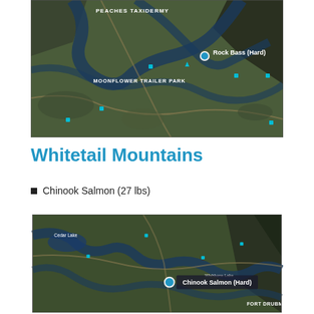[Figure (map): Aerial/satellite game map showing terrain with rivers and roads. Labels visible: PEACHES TAXIDERMY (top), MOONFLOWER TRAILER PARK (center), Rock Bass (Hard) marker with fish icon. Various map icons and markers in cyan/teal colors.]
Whitetail Mountains
Chinook Salmon (27 lbs)
[Figure (map): Aerial/satellite game map showing terrain with rivers. Labels visible: Cedar Lake (left), Wishbone Lake (right), FORT DRUBMAN (bottom right), Chinook Salmon (Hard) marker with fish icon in center.]